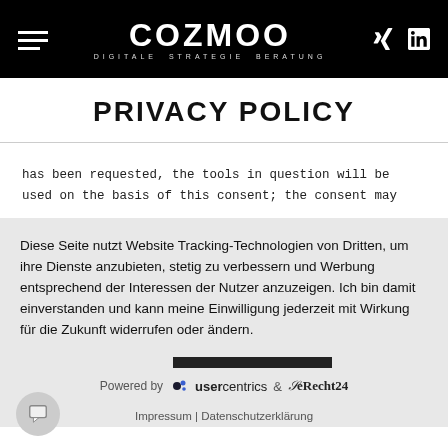COZMOO — DIGITALE STRATEGIE BERATUNG
PRIVACY POLICY
has been requested, the tools in question will be used on the basis of this consent; the consent may
Diese Seite nutzt Website Tracking-Technologien von Dritten, um ihre Dienste anzubieten, stetig zu verbessern und Werbung entsprechend der Interessen der Nutzer anzuzeigen. Ich bin damit einverstanden und kann meine Einwilligung jederzeit mit Wirkung für die Zukunft widerrufen oder ändern.
VERWEIGERN | AKZEPTIEREN | MEHR
Powered by usercentrics & eRecht24
Impressum | Datenschutzerklärung